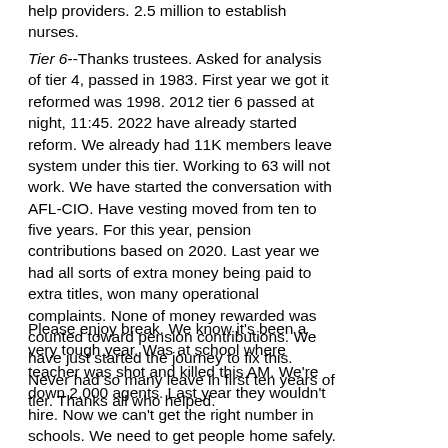help providers. 2.5 million to establish nurses.
Tier 6--Thanks trustees. Asked for analysis of tier 4, passed in 1983. First year we got it reformed was 1998. 2012 tier 6 passed at night, 11:45. 2022 have already started reform. We already had 11K members leave system under this tier. Working to 63 will not work. We have started the conversation with AFL-CIO. Have vesting moved from ten to five years. For this year, pension contributions based on 2020. Last year we had all sorts of extra money being paid to extra titles, won many operational complaints. None of money rewarded was counted toward pension contributions. We have just started the journey to fix this. Never had so many leave in first ten years of tier. Thanks all who helped.
Please enjoy break. We know it's been a very tough year. Was at school where teacher was shot and killed this AM. We're down 2,000 agents. Last year they wouldn't hire. Now we can't get the right number in schools. We need to get people home safely. Thank you for your leadership. We will get through this year in best way possible.